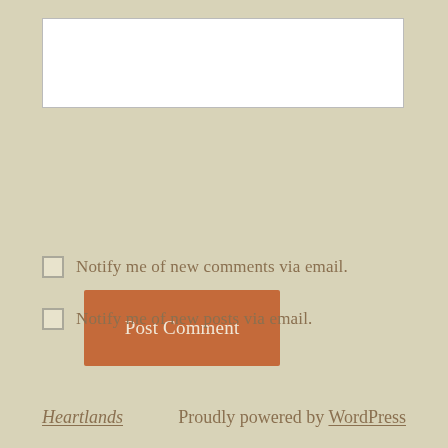[Figure (other): White text input/textarea box]
Post Comment
Notify me of new comments via email.
Notify me of new posts via email.
Heartlands    Proudly powered by WordPress